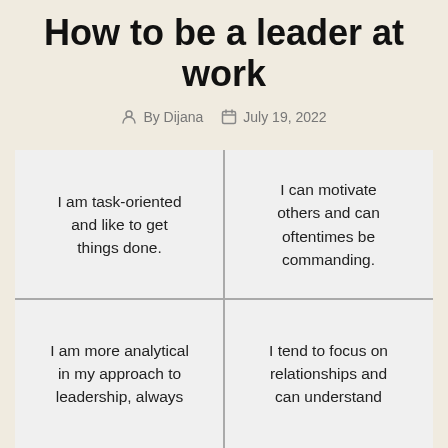How to be a leader at work
By Dijana   July 19, 2022
[Figure (infographic): 2x2 quadrant diagram with four leadership style descriptions. Top-left: 'I am task-oriented and like to get things done.' Top-right: 'I can motivate others and can oftentimes be commanding.' Bottom-left: 'I am more analytical in my approach to leadership, always' (truncated). Bottom-right: 'I tend to focus on relationships and can understand' (truncated).]